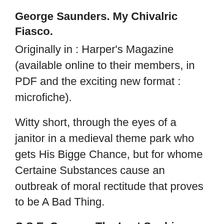George Saunders. My Chivalric Fiasco.
Originally in : Harper's Magazine (available online to their members, in PDF and the exciting new format : microfiche).
Witty short, through the eyes of a janitor in a medieval theme park who gets His Bigge Chance, but for whome Certaine Substances cause an outbreak of moral rectitude that proves to be A Bad Thing.
C.S.E. Cooney. The Last Sophia.
Originally in : Strange Horizons, March 7 2011. and still online
An unsettling fantasy (read it at the link above!) told through the disoriented perspective of a young woman who has given birth to several changelings, fathered by the